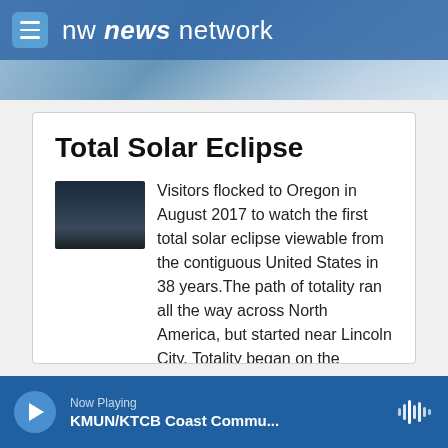nw news network
Total Solar Eclipse
Visitors flocked to Oregon in August 2017 to watch the first total solar eclipse viewable from the contiguous United States in 38 years.The path of totality ran all the way across North America, but started near Lincoln City. Totality began on the Oregon Coast on August 21 at 10:16 a.m. PDT.And eclipse watchers were ready.
[Figure (photo): Small thumbnail photo showing a darkened sky during the solar eclipse near a treeline silhouette]
Now Playing
KMUN/KTCB Coast Commu...